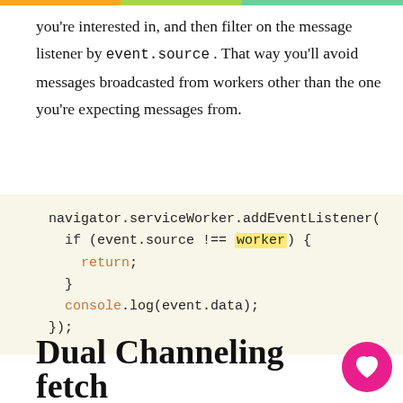you're interested in, and then filter on the message listener by event.source . That way you'll avoid messages broadcasted from workers other than the one you're expecting messages from.
[Figure (screenshot): Code block showing JavaScript: navigator.serviceWorker.addEventListener( if (event.source !== worker) { return; } console.log(event.data); });]
Dual Channeling fetch